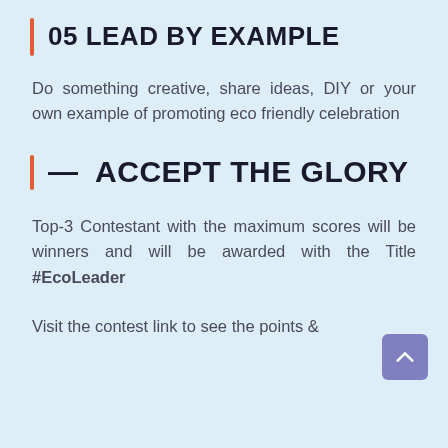05 LEAD BY EXAMPLE
Do something creative, share ideas, DIY or your own example of promoting eco friendly celebration
— ACCEPT THE GLORY
Top-3 Contestant with the maximum scores will be winners and will be awarded with the Title #EcoLeader
Visit the contest link to see the points &